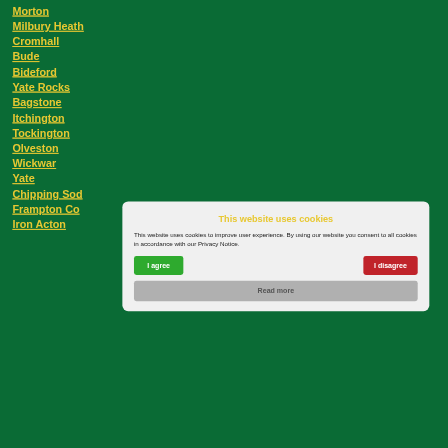Morton
Milbury Heath
Cromhall
Bude
Bideford
Yate Rocks
Bagstone
Itchington
Tockington
Olveston
Wickwar
Yate
Chipping Sod…
Frampton Co…
Iron Acton
This website uses cookies
This website uses cookies to improve user experience. By using our website you consent to all cookies in accordance with our Privacy Notice.
I agree
I disagree
Read more